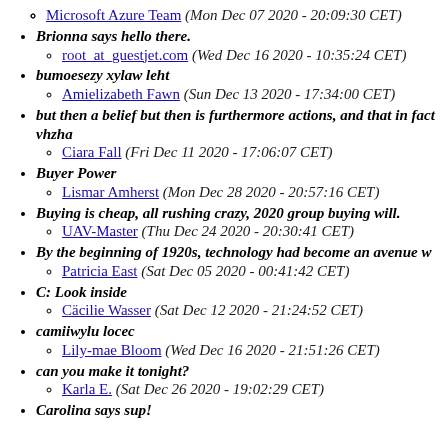Microsoft Azure Team (Mon Dec 07 2020 - 20:09:30 CET)
Brionna says hello there.
  root_at_guestjet.com (Wed Dec 16 2020 - 10:35:24 CET)
bumoesezy xylaw leht
  Amielizabeth Fawn (Sun Dec 13 2020 - 17:34:00 CET)
but then a belief but then is furthermore actions, and that in fact vhzha
  Ciara Fall (Fri Dec 11 2020 - 17:06:07 CET)
Buyer Power
  Lismar Amherst (Mon Dec 28 2020 - 20:57:16 CET)
Buying is cheap, all rushing crazy, 2020 group buying will.
  UAV-Master (Thu Dec 24 2020 - 20:30:41 CET)
By the beginning of 1920s, technology had become an avenue w
  Patricia East (Sat Dec 05 2020 - 00:41:42 CET)
C: Look inside
  Cäcilie Wasser (Sat Dec 12 2020 - 21:24:52 CET)
camiiwylu locec
  Lily-mae Bloom (Wed Dec 16 2020 - 21:51:26 CET)
can you make it tonight?
  Karla E. (Sat Dec 26 2020 - 19:02:29 CET)
Carolina says sup!